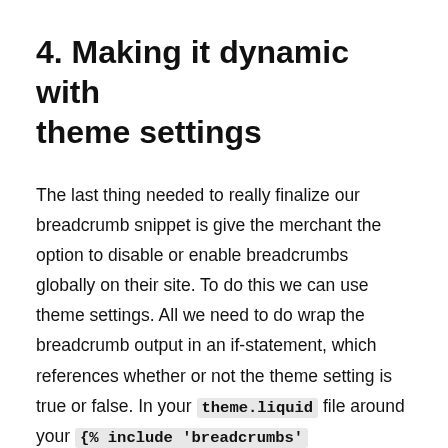4. Making it dynamic with theme settings
The last thing needed to really finalize our breadcrumb snippet is give the merchant the option to disable or enable breadcrumbs globally on their site. To do this we can use theme settings. All we need to do wrap the breadcrumb output in an if-statement, which references whether or not the theme setting is true or false. In your theme.liquid file around your {% include 'breadcrumbs' %} add an if-statement: